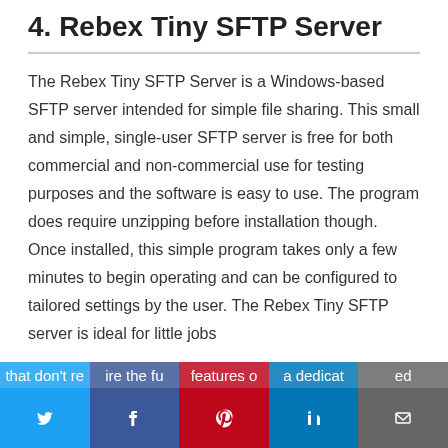4. Rebex Tiny SFTP Server
The Rebex Tiny SFTP Server is a Windows-based SFTP server intended for simple file sharing. This small and simple, single-user SFTP server is free for both commercial and non-commercial use for testing purposes and the software is easy to use. The program does require unzipping before installation though. Once installed, this simple program takes only a few minutes to begin operating and can be configured to tailored settings by the user. The Rebex Tiny SFTP server is ideal for little jobs that don't require the full features of a dedicated
[Figure (other): Social sharing bar with Twitter, Facebook, Pinterest, LinkedIn, and Email buttons]